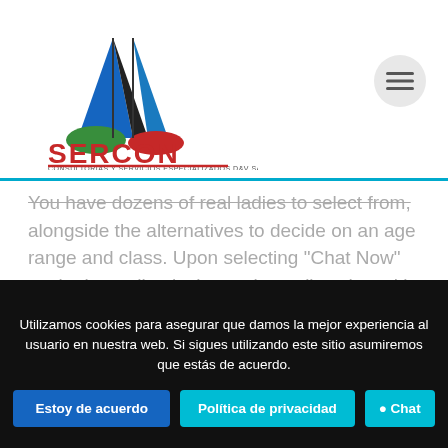[Figure (logo): SERCON logo with triangular building graphic in blue, black, green and red, with text SERCON in red and subtitle CONSULTORIAS Y SERVICIOS ESPECIALIZADOS D&V SAS]
You have dozens of real ladies to select from, alongside the alternatives to decide on an age range and class. Upon selecting “Chat Now” you’re immediately thrown into a live chat with a real particular person — you then have the choice to hitch and give money and personal periods.
The Best Video Chat Apps For Socializing And Online
Utilizamos cookies para asegurar que damos la mejor experiencia al usuario en nuestra web. Si sigues utilizando este sitio asumiremos que estás de acuerdo.
Estoy de acuerdo | Política de privacidad | Chat